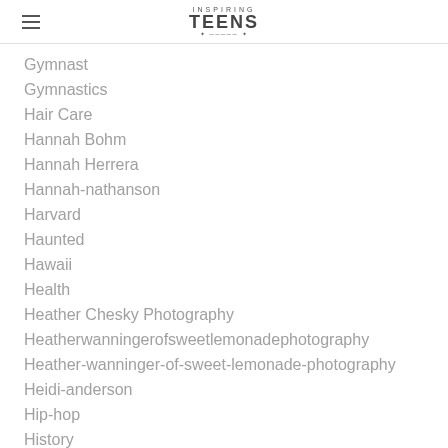Inspiring Teens
Gymnast
Gymnastics
Hair Care
Hannah Bohm
Hannah Herrera
Hannah-nathanson
Harvard
Haunted
Hawaii
Health
Heather Chesky Photography
Heatherwanningerofsweetlemonadephotography
Heather-wanninger-of-sweet-lemonade-photography
Heidi-anderson
Hip-hop
History
Hoby
Holli-N...